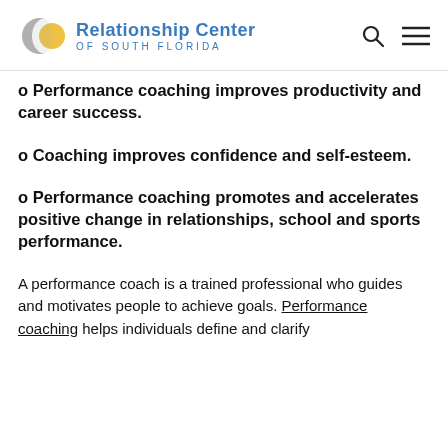Relationship Center OF SOUTH FLORIDA
o Performance coaching improves productivity and career success.
o Coaching improves confidence and self-esteem.
o Performance coaching promotes and accelerates positive change in relationships, school and sports performance.
A performance coach is a trained professional who guides and motivates people to achieve goals. Performance coaching helps individuals define and clarify